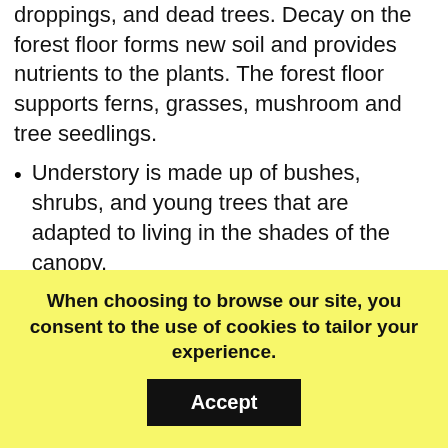droppings, and dead trees. Decay on the forest floor forms new soil and provides nutrients to the plants. The forest floor supports ferns, grasses, mushroom and tree seedlings.
Understory is made up of bushes, shrubs, and young trees that are adapted to living in the shades of the canopy.
Canopy is formed by the mass of intertwined branches, twigs and leaves of the mature trees. The crowns of the dominant trees receive most of the sunlight. This is the most productive part of the trees where maximum food is produced. The canopy forms a shady, protective "umbrella" over the rest of the forest.
Emergent layer exists in the tropical rain forest and is composed of a few scattered trees that tower over the canopy.
When choosing to browse our site, you consent to the use of cookies to tailor your experience.